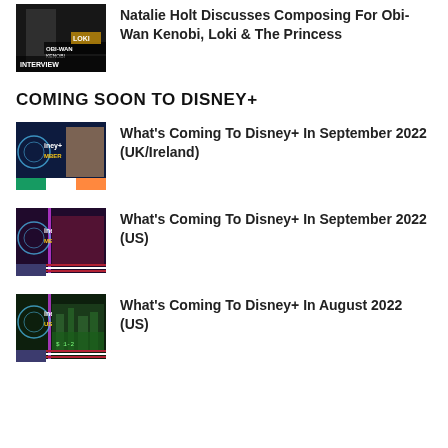[Figure (photo): Black and white photo with Obi-Wan Kenobi and Loki logos, labeled INTERVIEW]
Natalie Holt Discusses Composing For Obi-Wan Kenobi, Loki & The Princess
COMING SOON TO DISNEY+
[Figure (photo): Disney+ September coming soon thumbnail with UK/Ireland flag]
What's Coming To Disney+ In September 2022 (UK/Ireland)
[Figure (photo): Disney+ September coming soon thumbnail with US flag]
What's Coming To Disney+ In September 2022 (US)
[Figure (photo): Disney+ August coming soon thumbnail with US flag]
What's Coming To Disney+ In August 2022 (US)